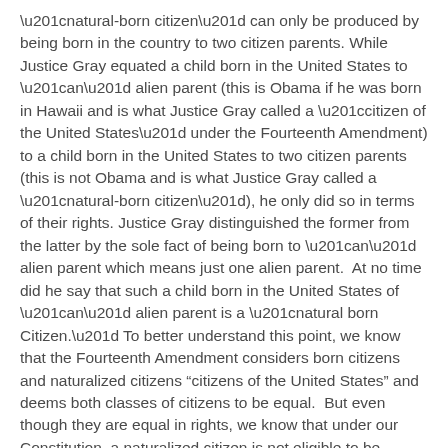“natural-born citizen” can only be produced by being born in the country to two citizen parents. While Justice Gray equated a child born in the United States to “an” alien parent (this is Obama if he was born in Hawaii and is what Justice Gray called a “citizen of the United States” under the Fourteenth Amendment) to a child born in the United States to two citizen parents (this is not Obama and is what Justice Gray called a “natural-born citizen”), he only did so in terms of their rights. Justice Gray distinguished the former from the latter by the sole fact of being born to “an” alien parent which means just one alien parent.  At no time did he say that such a child born in the United States of “an” alien parent is a “natural born Citizen.” To better understand this point, we know that the Fourteenth Amendment considers born citizens and naturalized citizens “citizens of the United States” and deems both classes of citizens to be equal.  But even though they are equal in rights, we know that under our Constitution, a naturalized citizen is not eligible to be President.
In Wong Kim Ark, the Court was faced with interpreting the meaning of “subject to the jurisdiction thereof” as written in